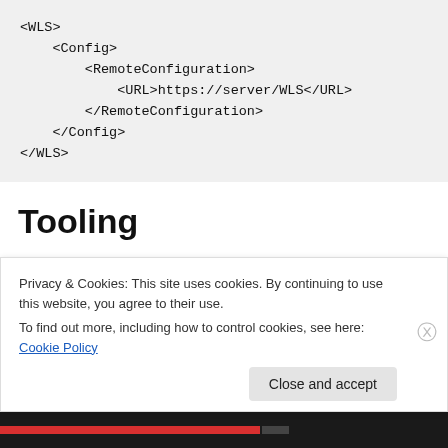[Figure (other): XML code block showing WLS configuration with RemoteConfiguration and URL elements]
Tooling
The Remote Configuration Rule Editor is provided to help with creating the rules.xml file. XML is the native format
Privacy & Cookies: This site uses cookies. By continuing to use this website, you agree to their use.
To find out more, including how to control cookies, see here: Cookie Policy